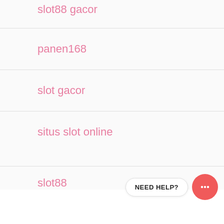slot88 gacor
panen168
slot gacor
situs slot online
slot88
[Figure (illustration): Chat widget with 'NEED HELP?' label and circular red chat icon with ellipsis]